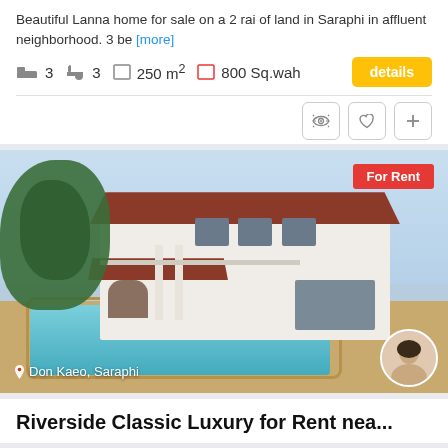Beautiful Lanna home for sale on a 2 rai of land in Saraphi in affluent neighborhood. 3 be [more]
3 bedrooms  3 bathrooms  250 m²  800 Sq.wah  details
[Figure (photo): Large luxury villa with swimming pool, two-storey white building with red roof, surrounded by trees. Badge: For Rent. Location: Don Kaeo, Saraphi. Agent avatar in bottom right corner.]
Riverside Classic Luxury for Rent nea...